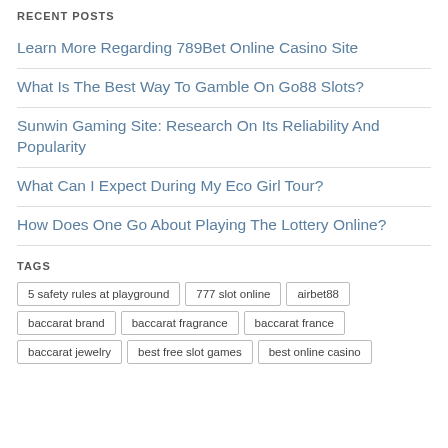RECENT POSTS
Learn More Regarding 789Bet Online Casino Site
What Is The Best Way To Gamble On Go88 Slots?
Sunwin Gaming Site: Research On Its Reliability And Popularity
What Can I Expect During My Eco Girl Tour?
How Does One Go About Playing The Lottery Online?
TAGS
5 safety rules at playground
777 slot online
airbet88
baccarat brand
baccarat fragrance
baccarat france
baccarat jewelry
best free slot games
best online casino